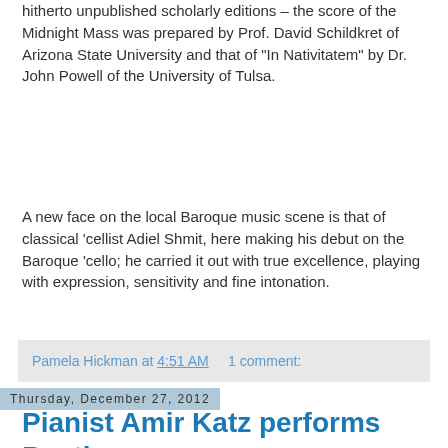hitherto unpublished scholarly editions – the score of the Midnight Mass was prepared by Prof. David Schildkret of Arizona State University and that of “In Nativitatem” by Dr. John Powell of the University of Tulsa.
A new face on the local Baroque music scene is that of classical ‘cellist Adiel Shmit, here making his debut on the Baroque ‘cello; he carried it out with true excellence, playing with expression, sensitivity and fine intonation.
Pamela Hickman at 4:51 AM    1 comment:
Thursday, December 27, 2012
Pianist Amir Katz performs Beethoven in Tel Aviv...